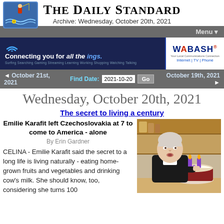The Daily Standard
Archive: Wednesday, October 20th, 2021
[Figure (logo): The Daily Standard newspaper logo with fisherman illustration]
Menu ▾
[Figure (illustration): Wabash advertisement banner: Connecting you for all the ings. Internet | TV | Phone]
◄ October 21st, 2021    Find Date: 2021-10-20  Go    October 19th, 2021 ►
Wednesday, October 20th, 2021
The secret to living a century
Emilie Karafit left Czechoslovakia at 7 to come to America - alone
By Erin Gardner
[Figure (photo): Elderly woman blowing out candles on a birthday cake with '00' candles]
CELINA - Emilie Karafit said the secret to a long life is living naturally - eating home-grown fruits and vegetables and drinking cow's milk. She should know, too, considering she turns 100